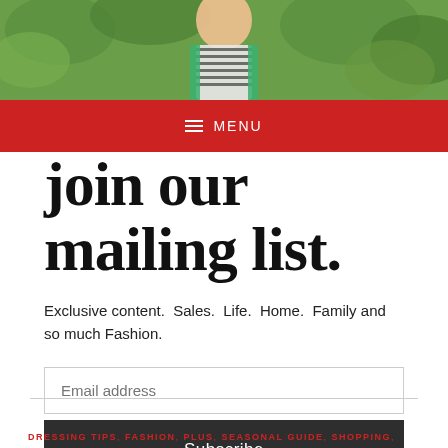[Figure (photo): Woman in striped top and green cardigan standing among green foliage, cropped at top of page]
≡ MENU
join our mailing list.
Exclusive content.  Sales.  Life.  Home.  Family and so much Fashion.
Email address
Subscribe
DRESSING TIPS, FASHION, PLUS, SEASONAL GUIDE, SHOPPING,